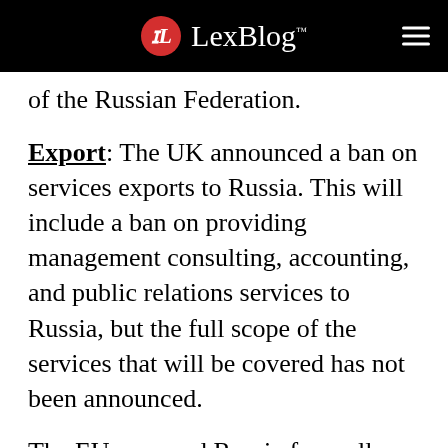LexBlog™
of the Russian Federation.
Export:  The UK announced a ban on services exports to Russia.  This will include a ban on providing management consulting, accounting, and public relations services to Russia, but the full scope of the services that will be covered has not been announced.
The EU removed Russia from all European Union general export authorizations. Previously exporters were able to utilize the following general export authorizations for exports to Russia: (i) EU003 for items that are